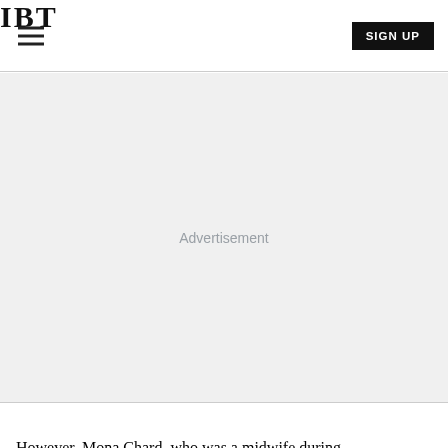IBT
[Figure (other): Advertisement placeholder area with light gray background and centered 'Advertisement' label]
However, Mona Chard, who was a midwife during